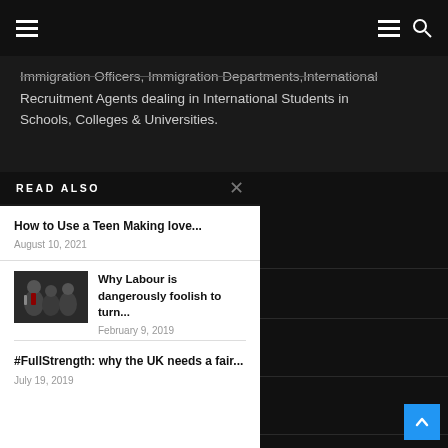Navigation header with hamburger menus and search icon
Immigration Officers, Immigration Departments,International Recruitment Agents dealing in International Students in Schools, Colleges & Universities.
READ ALSO
How to Use a Teen Making love...
August 10, 2021
Why Labour is dangerously foolish to turn...
February 9, 2019
#FullStrength: why the UK needs a fair...
July 19, 2019